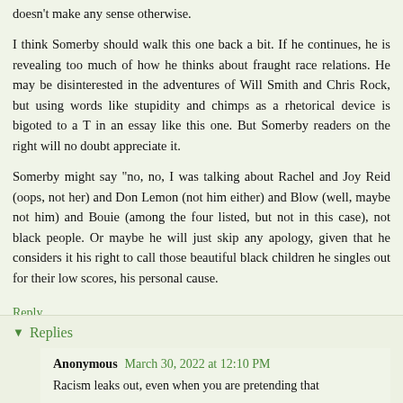doesn't make any sense otherwise.
I think Somerby should walk this one back a bit. If he continues, he is revealing too much of how he thinks about fraught race relations. He may be disinterested in the adventures of Will Smith and Chris Rock, but using words like stupidity and chimps as a rhetorical device is bigoted to a T in an essay like this one. But Somerby readers on the right will no doubt appreciate it.
Somerby might say "no, no, I was talking about Rachel and Joy Reid (oops, not her) and Don Lemon (not him either) and Blow (well, maybe not him) and Bouie (among the four listed, but not in this case), not black people. Or maybe he will just skip any apology, given that he considers it his right to call those beautiful black children he singles out for their low scores, his personal cause.
Reply
Replies
Anonymous March 30, 2022 at 12:10 PM
Racism leaks out, even when you are pretending that